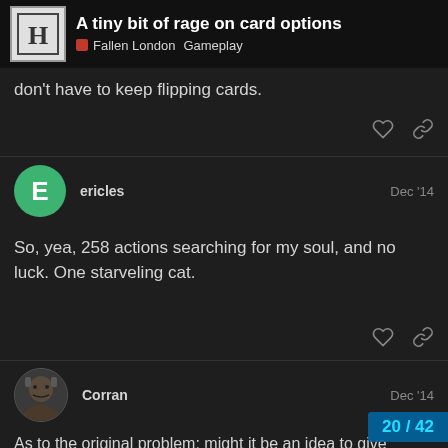A tiny bit of rage on card options — Fallen London Gameplay
don't have to keep flipping cards.
ericles   Dec '14
So, yea, 258 actions searching for my soul, and no luck. One starveling cat.
Corran   Dec '14
As to the original problem: might it be an idea to give new/temporary options on cards/storylets a different color? That should be a good warning mec... something is up. Or you could color just th...
20 / 42